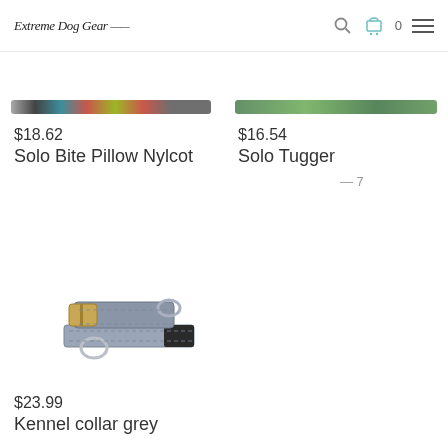Extreme Dog Gear — navigation header with search, cart (0), menu icons
[Figure (photo): Top strip of a Solo Bite Pillow Nylcot dog toy, showing colorful fabric swatches]
$18.62
Solo Bite Pillow Nylcot
[Figure (other): 5 empty star rating icons]
[Figure (photo): Top strip of a Solo Tugger dog toy, showing green material]
$16.54
Solo Tugger
[Figure (other): 4.5 star rating with 7 reviews]
[Figure (photo): Grey kennel collar for dogs with metal buckle and D-rings]
$23.99
Kennel collar grey
[Figure (other): 5 empty star rating icons]